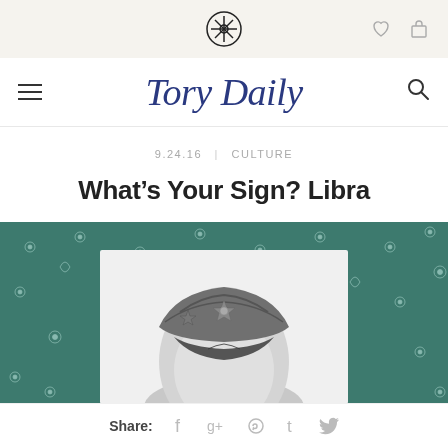Tory Burch logo, heart icon, bag icon
Tory Daily
9.24.16 | CULTURE
What's Your Sign? Libra
[Figure (photo): Woman wearing a dark turban headband with ornate brooch/pin accessories, photographed in black and white against a white background, with a teal floral patterned fabric visible behind.]
Share: f g+ Pinterest t Twitter